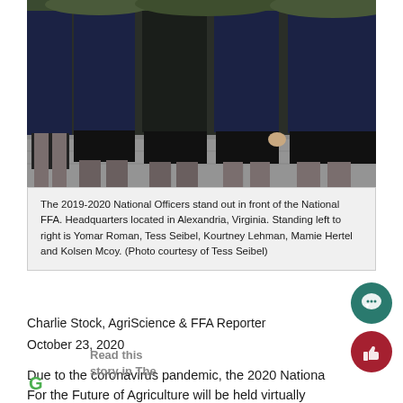[Figure (photo): Lower body photo of 2019-2020 National FFA Officers standing together, wearing dark blue jackets and black skirts/pants, outdoors on a paved surface.]
The 2019-2020 National Officers stand out in front of the National FFA. Headquarters located in Alexandria, Virginia. Standing left to right is Yomar Roman, Tess Seibel, Kourtney Lehman, Mamie Hertel and Kolsen Mcoy. (Photo courtesy of Tess Seibel)
Charlie Stock, AgriScience & FFA Reporter
October 23, 2020
Due to the coronavirus pandemic, the 2020 National For the Future of Agriculture will be held virtually instead of in person as it has been for 92 years.